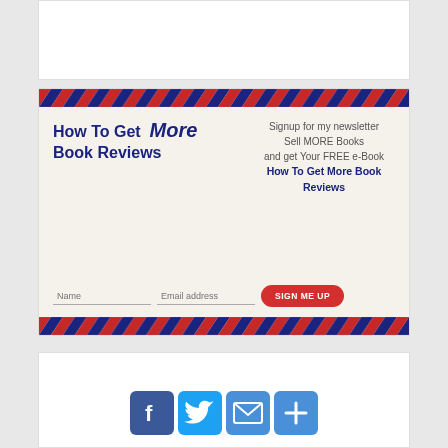[Figure (other): Top partial white card/banner (cropped)]
[Figure (infographic): Newsletter signup banner with airmail border. Title: 'How To Get More Book Reviews'. Right side text: 'Signup for my newsletter / Sell MORE Books / and get Your FREE e-Book / How To Get More Book Reviews'. Form fields: Name, Email address. Button: 'SIGN ME UP']
[Figure (infographic): Social sharing icons row: Facebook (blue f), Twitter (bird), Email (envelope), Plus/Share button]